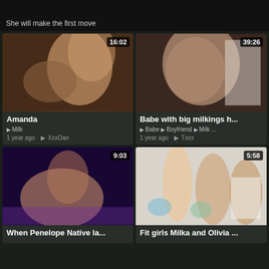She will make the first move
[Figure (screenshot): Video thumbnail: Amanda, blonde woman, duration 16:02]
Amanda
Milk | 1 year ago · XxxDan
[Figure (screenshot): Video thumbnail: Babe with big milkings h..., duration 39:26]
Babe with big milkings h...
Babe · Boyfriend · Milk ... | 1 year ago · Txxx
[Figure (screenshot): Video thumbnail: When Penelope Native la..., duration 9:03]
When Penelope Native la...
[Figure (screenshot): Video thumbnail: Fit girls Milka and Olivia ..., duration 5:58]
Fit girls Milka and Olivia ...